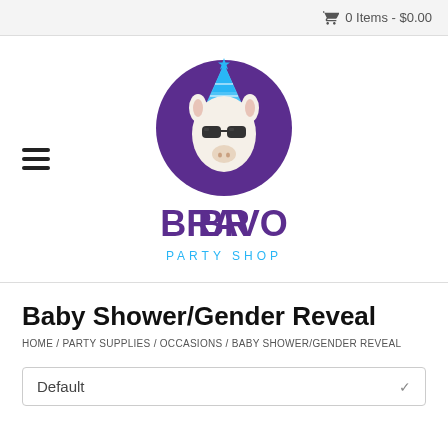0 Items - $0.00
[Figure (logo): Bravo Party Shop logo: a llama wearing sunglasses and a blue party hat inside a purple circle, with 'BRAVO' in bold purple letters and 'PARTY SHOP' in blue letters below]
Baby Shower/Gender Reveal
HOME / PARTY SUPPLIES / OCCASIONS / BABY SHOWER/GENDER REVEAL
Default